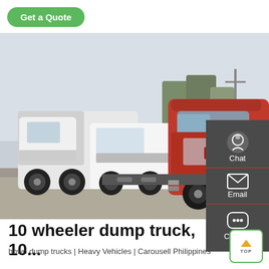Get a Quote
[Figure (photo): Multiple heavy-duty trucks parked in a yard. A prominent red HOWO tractor truck is in the foreground on the right, with white trucks visible in the background. The scene is an outdoor lot.]
10 wheeler dump truck, 10...
howo dump trucks | Heavy Vehicles | Carousell Philippines